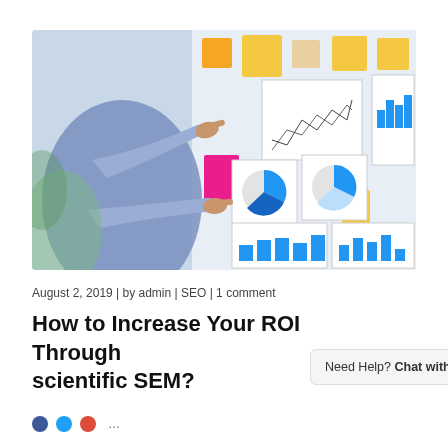[Figure (photo): Person pointing at charts and graphs pinned on a board, including pie charts, bar charts, and line graphs, with colorful sticky notes.]
August 2, 2019 | by admin | SEO | 1 comment
How to Increase Your ROI Through scientific SEM?
[Figure (screenshot): WhatsApp chat widget with text 'Need Help? Chat with us' and green WhatsApp button.]